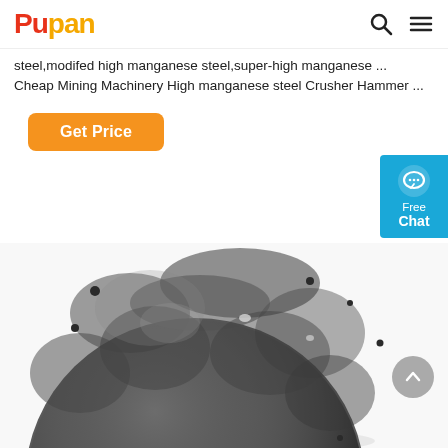Pupan
steel,modifed high manganese steel,super-high manganese ... Cheap Mining Machinery High manganese steel Crusher Hammer ...
Get Price
[Figure (photo): A dark gray spherical grinding steel ball photographed close-up against a white background.]